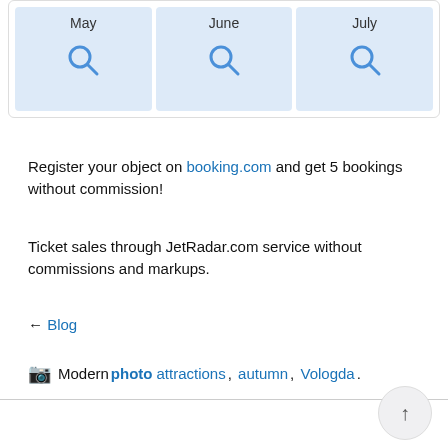[Figure (screenshot): Three month columns (May, June, July) each with a blue search icon on a light blue background, inside a white card with border]
Register your object on booking.com and get 5 bookings without commission!
Ticket sales through JetRadar.com service without commissions and markups.
← Blog
Modern photo attractions, autumn, Vologda.